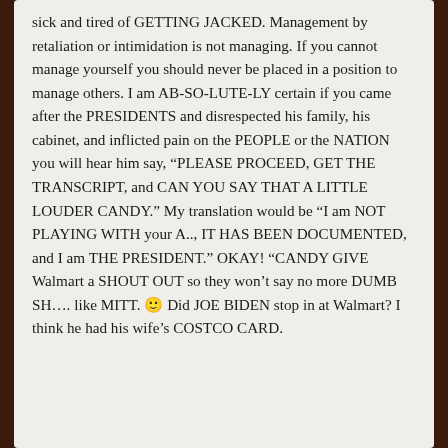sick and tired of GETTING JACKED. Management by retaliation or intimidation is not managing. If you cannot manage yourself you should never be placed in a position to manage others. I am AB-SO-LUTE-LY certain if you came after the PRESIDENTS and disrespected his family, his cabinet, and inflicted pain on the PEOPLE or the NATION you will hear him say, "PLEASE PROCEED, GET THE TRANSCRIPT, and CAN YOU SAY THAT A LITTLE LOUDER CANDY." My translation would be "I am NOT PLAYING WITH your A.., IT HAS BEEN DOCUMENTED, and I am THE PRESIDENT." OKAY! "CANDY GIVE Walmart a SHOUT OUT so they won't say no more DUMB SH…. like MITT. 🙂 Did JOE BIDEN stop in at Walmart? I think he had his wife's COSTCO CARD.